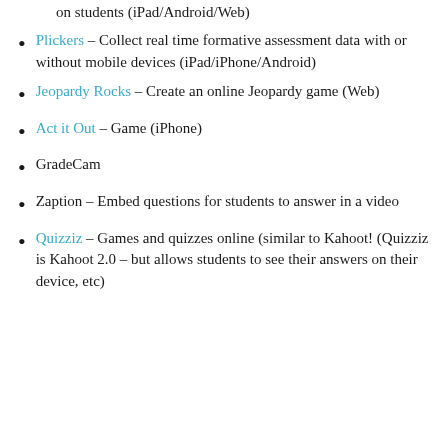(…p…) on students (iPad/Android/Web)
Plickers – Collect real time formative assessment data with or without mobile devices (iPad/iPhone/Android)
Jeopardy Rocks – Create an online Jeopardy game (Web)
Act it Out – Game (iPhone)
GradeCam
Zaption – Embed questions for students to answer in a video
Quizziz – Games and quizzes online (similar to Kahoot! (Quizziz is Kahoot 2.0 – but allows students to see their answers on their device, etc)